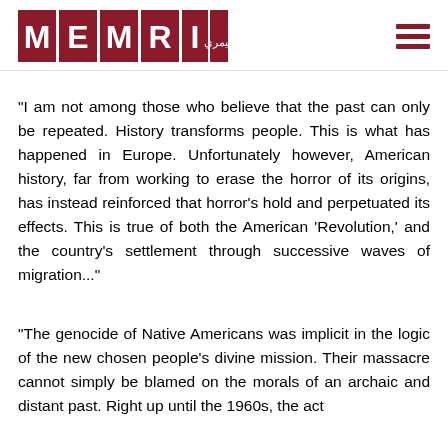MEMRI logo and navigation
"I am not among those who believe that the past can only be repeated. History transforms people. This is what has happened in Europe. Unfortunately however, American history, far from working to erase the horror of its origins, has instead reinforced that horror's hold and perpetuated its effects. This is true of both the American 'Revolution,' and the country's settlement through successive waves of migration..."
"The genocide of Native Americans was implicit in the logic of the new chosen people's divine mission. Their massacre cannot simply be blamed on the morals of an archaic and distant past. Right up until the 1960s, the act